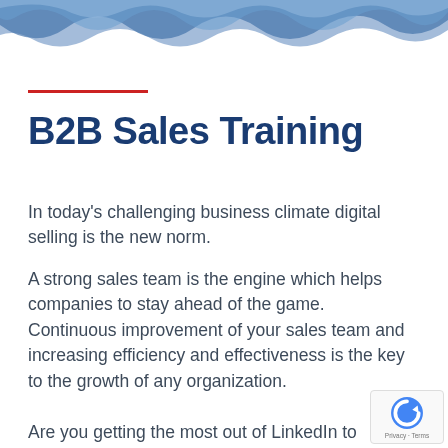[Figure (illustration): Decorative wave pattern in blue shades at the top of the page]
B2B Sales Training
In today's challenging business climate digital selling is the new norm.
A strong sales team is the engine which helps companies to stay ahead of the game.  Continuous improvement of your sales team and increasing efficiency and effectiveness is the key to the growth of any organization.
Are you getting the most out of LinkedIn to